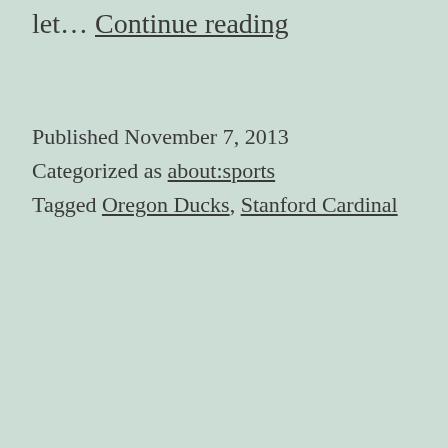let… Continue reading
Published November 7, 2013
Categorized as about:sports
Tagged Oregon Ducks, Stanford Cardinal